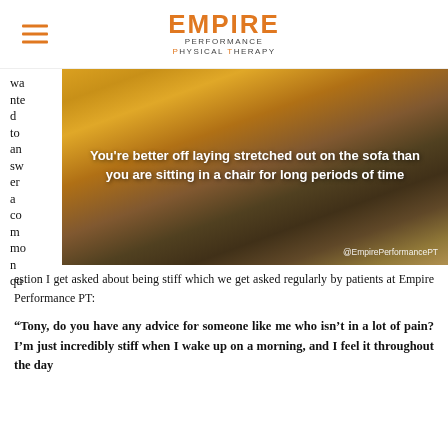Empire Performance Physical Therapy
[Figure (photo): Photo of a runner tying shoes on a road at sunset with overlaid quote text: 'You're better off laying stretched out on the sofa than you are sitting in a chair for long periods of time' and handle @EmpirePerformancePT]
Wanted to answer a common question I get asked about being stiff which we get asked regularly by patients at Empire Performance PT:
“Tony, do you have any advice for someone like me who isn’t in a lot of pain? I’m just incredibly stiff when I wake up on a morning, and I feel it throughout the day